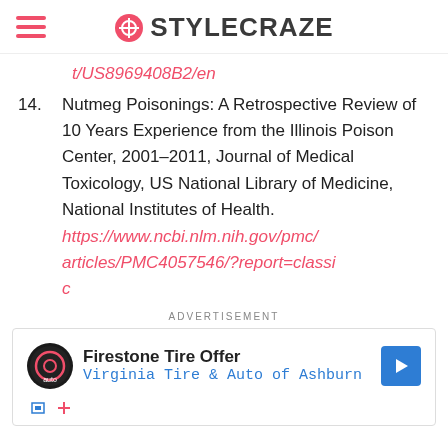STYLECRAZE
t/US8969408B2/en
14. Nutmeg Poisonings: A Retrospective Review of 10 Years Experience from the Illinois Poison Center, 2001–2011, Journal of Medical Toxicology, US National Library of Medicine, National Institutes of Health. https://www.ncbi.nlm.nih.gov/pmc/articles/PMC4057546/?report=classi c
ADVERTISEMENT
[Figure (screenshot): Advertisement banner showing Firestone Tire Offer with Virginia Tire & Auto of Ashburn, with auto service logo and blue arrow button]